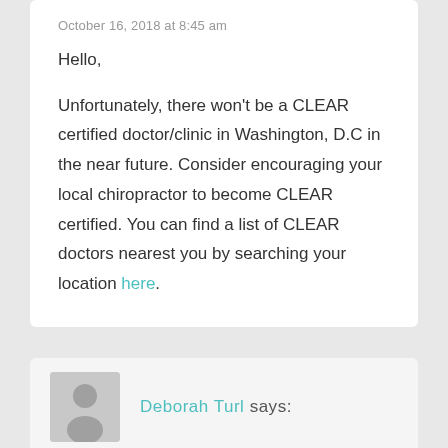October 16, 2018 at 8:45 am
Hello,
Unfortunately, there won't be a CLEAR certified doctor/clinic in Washington, D.C in the near future. Consider encouraging your local chiropractor to become CLEAR certified. You can find a list of CLEAR doctors nearest you by searching your location here.
Deborah Turl says: